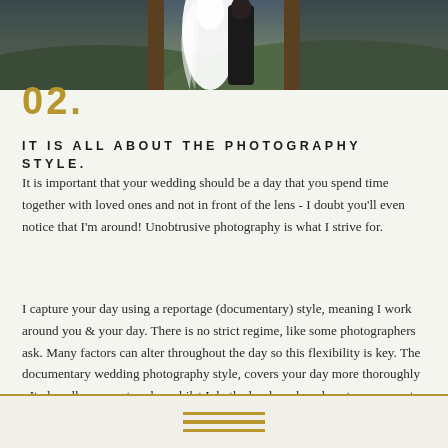[Figure (photo): Wedding photo showing a bride in white dress and groom in dark suit, photographed from behind, standing in a doorway or frame with a scenic landscape background]
02.
IT IS ALL ABOUT THE PHOTOGRAPHY STYLE.
It is important that your wedding should be a day that you spend time together with loved ones and not in front of the lens - I doubt you'll even notice that I'm around! Unobtrusive photography is what I strive for.
I capture your day using a reportage (documentary) style, meaning I work around you & your day. There is no strict regime, like some photographers ask. Many factors can alter throughout the day so this flexibility is key. The documentary wedding photography style, covers your day more thoroughly - It also allows you to relax whilst I do the hard work and capture moments you didn't even know had happened!